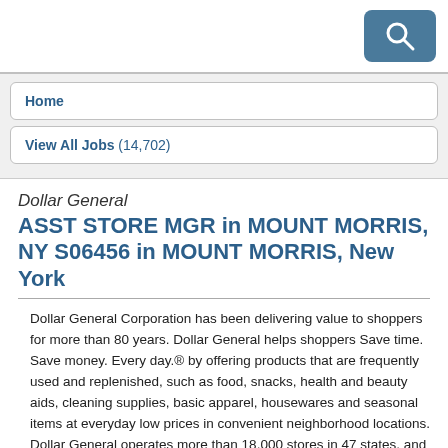Home
View All Jobs (14,702)
Dollar General
ASST STORE MGR in MOUNT MORRIS, NY S06456 in MOUNT MORRIS, New York
Dollar General Corporation has been delivering value to shoppers for more than 80 years. Dollar General helps shoppers Save time. Save money. Every day.® by offering products that are frequently used and replenished, such as food, snacks, health and beauty aids, cleaning supplies, basic apparel, housewares and seasonal items at everyday low prices in convenient neighborhood locations. Dollar General operates more than 18,000 stores in 47 states, and we're still growing. Learn more about Dollar General at www.dollargeneral.com.